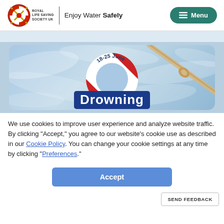ROYAL LIFE SAVING SOCIETY UK — Enjoy Water Safely — Menu
[Figure (screenshot): Hero banner showing a lifesaving ring with text '18-25 June' and partial text 'Drowning' on a water background with rope]
We use cookies to improve user experience and analyze website traffic. By clicking “Accept,” you agree to our website’s cookie use as described in our Cookie Policy. You can change your cookie settings at any time by clicking “Preferences.”
Accept
SEND FEEDBACK